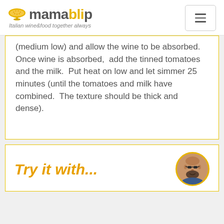mamablip — Italian wine&food together always
(medium low) and allow the wine to be absorbed.
Once wine is absorbed,  add the tinned tomatoes and the milk.  Put heat on low and let simmer 25 minutes (until the tomatoes and milk have combined.  The texture should be thick and dense).
Try it with...
[Figure (photo): Circular avatar photo of a bald man with glasses and a beard, set against a warm background, with a golden/amber circular border.]